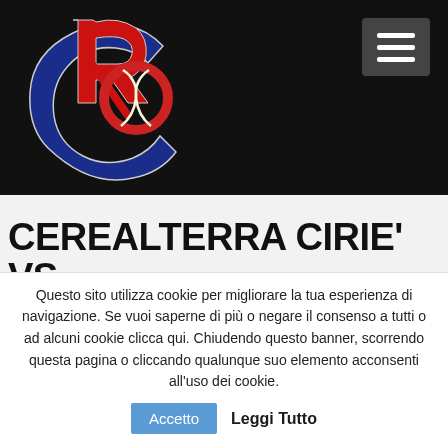[Figure (logo): Baseball club logo with stylized letters RC/PC in red and dark blue on black background]
CEREALTERRA CIRIE' VS COLLEGNO
Questo sito utilizza cookie per migliorare la tua esperienza di navigazione. Se vuoi saperne di più o negare il consenso a tutti o ad alcuni cookie clicca qui. Chiudendo questo banner, scorrendo questa pagina o cliccando qualunque suo elemento acconsenti all'uso dei cookie.
Accetto
Leggi Tutto